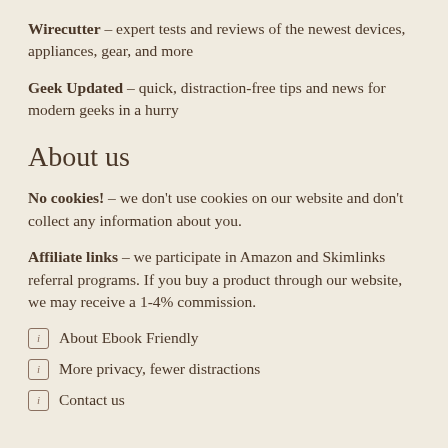Wirecutter – expert tests and reviews of the newest devices, appliances, gear, and more
Geek Updated – quick, distraction-free tips and news for modern geeks in a hurry
About us
No cookies! – we don't use cookies on our website and don't collect any information about you.
Affiliate links – we participate in Amazon and Skimlinks referral programs. If you buy a product through our website, we may receive a 1-4% commission.
About Ebook Friendly
More privacy, fewer distractions
Contact us